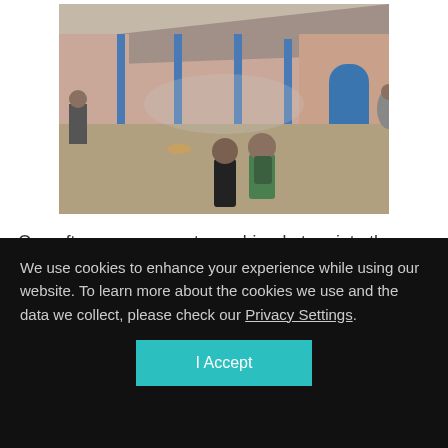[Figure (photo): Outdoor courtyard scene with people, animals, and fires on the ground. Buildings with blue columns and arched doorways in the background. Two figures in the foreground, one wearing a green jacket with a backpack.]
One afternoon we went on a bicycle tour into the countryside.  The lush green landscape was magnificent, and the fields
We use cookies to enhance your experience while using our website. To learn more about the cookies we use and the data we collect, please check our Privacy Settings.
I Accept